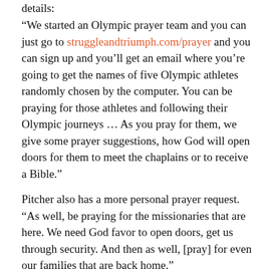details:
“We started an Olympic prayer team and you can just go to struggleandtriumph.com/prayer and you can sign up and you’ll get an email where you’re going to get the names of five Olympic athletes randomly chosen by the computer. You can be praying for those athletes and following their Olympic journeys … As you pray for them, we give some prayer suggestions, how God will open doors for them to meet the chaplains or to receive a Bible.”
Pitcher also has a more personal prayer request. “As well, be praying for the missionaries that are here. We need God favor to open doors, get us through security. And then as well, [pray] for even our families that are back home.”